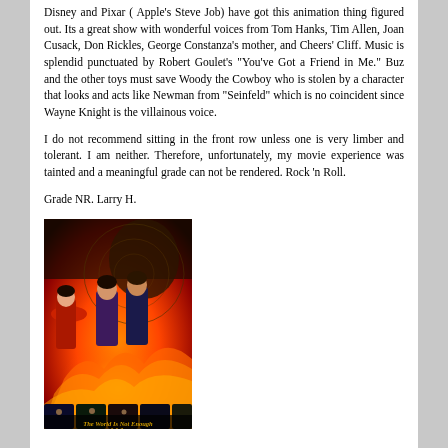Disney and Pixar ( Apple's Steve Job) have got this animation thing figured out. Its a great show with wonderful voices from Tom Hanks, Tim Allen, Joan Cusack, Don Rickles, George Constanza's mother, and Cheers' Cliff. Music is splendid punctuated by Robert Goulet's "You've Got a Friend in Me." Buz and the other toys must save Woody the Cowboy who is stolen by a character that looks and acts like Newman from "Seinfeld" which is no coincident since Wayne Knight is the villainous voice.
I do not recommend sitting in the front row unless one is very limber and tolerant. I am neither. Therefore, unfortunately, my movie experience was tainted and a meaningful grade can not be rendered. Rock 'n Roll.
Grade NR. Larry H.
[Figure (photo): Movie poster for a James Bond 007 film 'The World Is Not Enough' showing action figures and explosions with orange/fire color scheme]